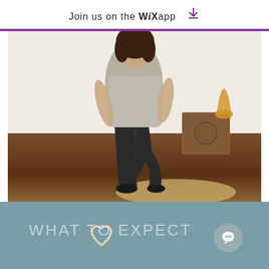Join us on the WiX app ⬇
[Figure (photo): Woman in yoga/fitness pose wearing gray top and black leggings, standing on one leg in an indoor room with wooden furniture, decorative box, and lamp on hardwood floor with rug]
WHAT TO EXPECT
[Figure (illustration): Heart outline icon in rose-gold/white color]
[Figure (illustration): Chat/message bubble icon inside gray circle button]